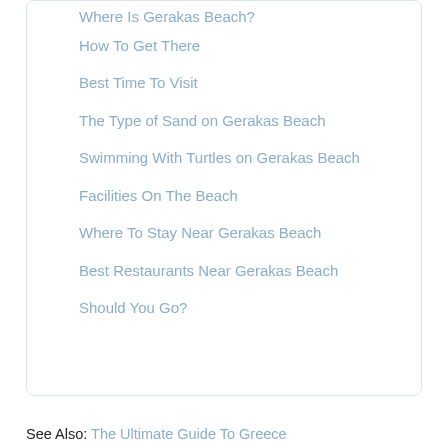Where Is Gerakas Beach?
How To Get There
Best Time To Visit
The Type of Sand on Gerakas Beach
Swimming With Turtles on Gerakas Beach
Facilities On The Beach
Where To Stay Near Gerakas Beach
Best Restaurants Near Gerakas Beach
Should You Go?
See Also: The Ultimate Guide To Greece